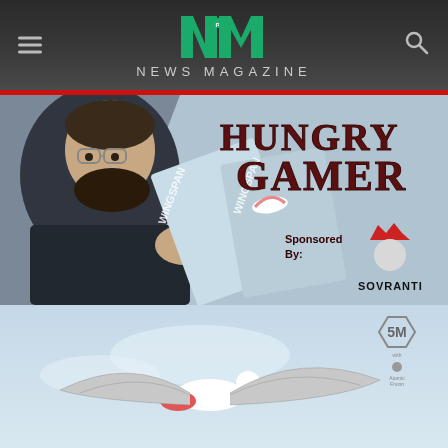NM PRO NEWS MAGAZINE
[Figure (illustration): Hero banner showing animated/illustrated man with glasses and beard holding multiple Wingspan board game boxes, with 'HUNGRY GAMER' text overlay and 'Sponsored By: SOVRANTI' text on a blue-grey background]
[Figure (illustration): Bottom image showing a bird (likely from Wingspan board game artwork) in flight against a light blue sky background, with a hexagonal SM logo in upper right corner]